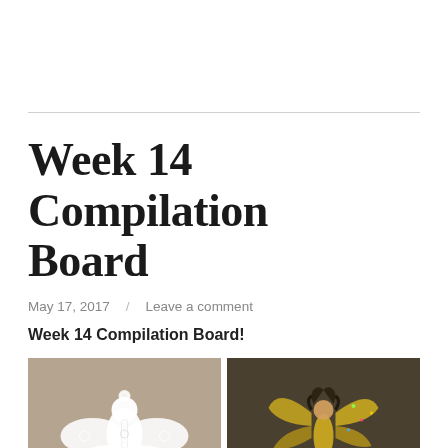Week 14 Compilation Board
May 17, 2017   Leave a comment
Week 14 Compilation Board!
[Figure (photo): Two photos side by side: left shows a white paper doily angel craft on a tan/kraft paper background; right shows a gold/green metallic fairy figure against a dark background.]